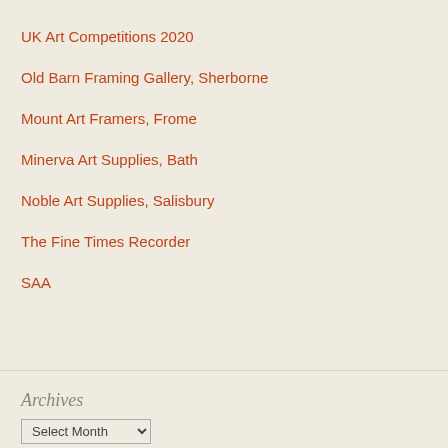UK Art Competitions 2020
Old Barn Framing Gallery, Sherborne
Mount Art Framers, Frome
Minerva Art Supplies, Bath
Noble Art Supplies, Salisbury
The Fine Times Recorder
SAA
Archives